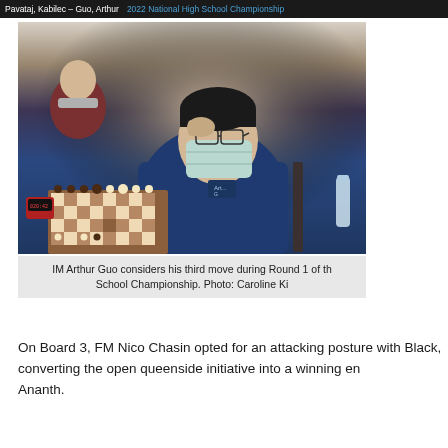Pavataj, Kabilec – Guo, Arthur   2022 National High School Championship
[Figure (photo): IM Arthur Guo wearing a blue jacket and face mask, leaning forward with hand on glasses, considering a chess position during a tournament. A chess clock and chess board with pieces are visible. Another player in a red shirt and mask is visible in the background.]
IM Arthur Guo considers his third move during Round 1 of the National High School Championship. Photo: Caroline Ki
On Board 3, FM Nico Chasin opted for an attacking posture with Black, converting the open queenside initiative into a winning endgame against Ananth.